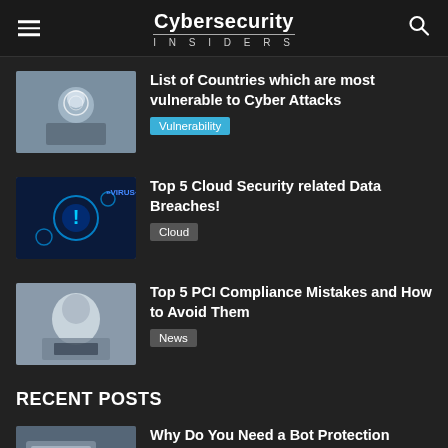Cybersecurity INSIDERS
List of Countries which are most vulnerable to Cyber Attacks
Vulnerability
Top 5 Cloud Security related Data Breaches!
Cloud
Top 5 PCI Compliance Mistakes and How to Avoid Them
News
RECENT POSTS
Why Do You Need a Bot Protection Solution for Your Business?